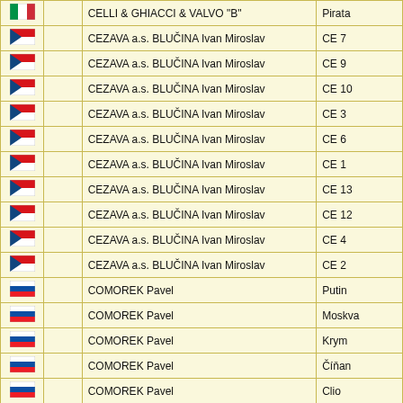| Flag |  | Owner | Boat |
| --- | --- | --- | --- |
| IT |  | CELLI & GHIACCI & VALVO "B" | Pirata |
| CZ |  | CEZAVA a.s. BLUČINA Ivan Miroslav | CE 7 |
| CZ |  | CEZAVA a.s. BLUČINA Ivan Miroslav | CE 9 |
| CZ |  | CEZAVA a.s. BLUČINA Ivan Miroslav | CE 10 |
| CZ |  | CEZAVA a.s. BLUČINA Ivan Miroslav | CE 3 |
| CZ |  | CEZAVA a.s. BLUČINA Ivan Miroslav | CE 6 |
| CZ |  | CEZAVA a.s. BLUČINA Ivan Miroslav | CE 1 |
| CZ |  | CEZAVA a.s. BLUČINA Ivan Miroslav | CE 13 |
| CZ |  | CEZAVA a.s. BLUČINA Ivan Miroslav | CE 12 |
| CZ |  | CEZAVA a.s. BLUČINA Ivan Miroslav | CE 4 |
| CZ |  | CEZAVA a.s. BLUČINA Ivan Miroslav | CE 2 |
| SK |  | COMOREK Pavel | Putin |
| SK |  | COMOREK Pavel | Moskva |
| SK |  | COMOREK Pavel | Krym |
| SK |  | COMOREK Pavel | Číňan |
| SK |  | COMOREK Pavel | Clio |
| BE |  | COPPENS Peter | Ubbe |
| BE |  | COPPENS Peter | Hvitserk |
| BE |  | COPPENS Peter | Floki |